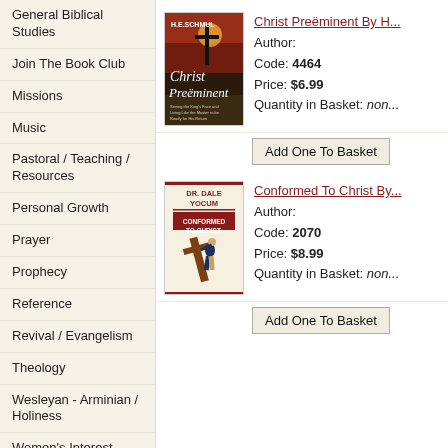General Biblical Studies
Join The Book Club
Missions
Music
Pastoral / Teaching / Resources
Personal Growth
Prayer
Prophecy
Reference
Revival / Evangelism
Theology
Wesleyan - Arminian / Holiness
Women's Interest
[Figure (illustration): Book cover of Christ Preeminent by H.E. Schmul, dark background with cross silhouette and sun]
Christ Preëminent By H... Author: Code: 4464 Price: $6.99 Quantity in Basket: non...
Add One To Basket
[Figure (illustration): Book cover of Conformed To Christ by Dr. Dale Yocum, illustration of person carrying large cross]
Conformed To Christ By... Author: Code: 2070 Price: $8.99 Quantity in Basket: non...
Add One To Basket